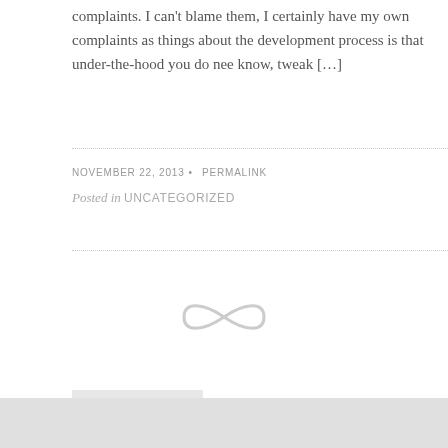complaints. I can't blame them, I certainly have my own complaints as things about the development process is that under-the-hood you do need know, tweak […]
NOVEMBER 22, 2013 • PERMALINK
Posted in UNCATEGORIZED
[Figure (illustration): Decorative infinity/tilde symbol in light gray]
« Older Posts